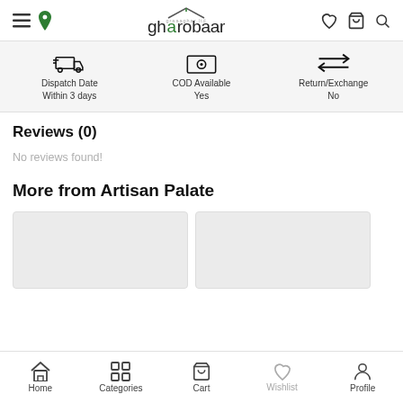gharobaar — navigation bar with menu, location, logo, wishlist, cart, search icons
Dispatch Date Within 3 days | COD Available Yes | Return/Exchange No
Reviews (0)
No reviews found!
More from Artisan Palate
[Figure (other): Two product card placeholders (grey rectangles)]
Home | Categories | Cart | Wishlist | Profile